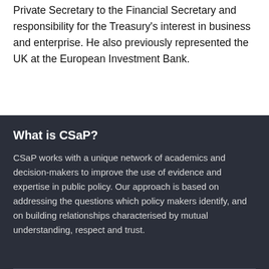Private Secretary to the Financial Secretary and responsibility for the Treasury's interest in business and enterprise. He also previously represented the UK at the European Investment Bank.
What is CSaP?
CSaP works with a unique network of academics and decision-makers to improve the use of evidence and expertise in public policy. Our approach is based on addressing the questions which policy makers identify, and on building relationships characterised by mutual understanding, respect and trust.